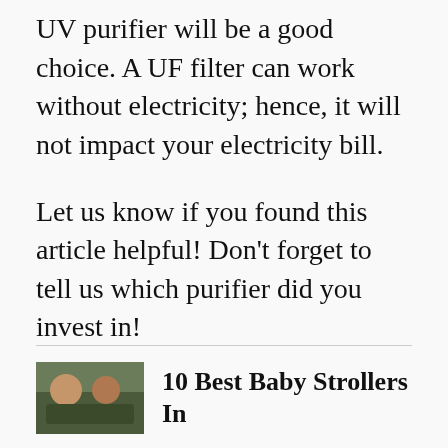UV purifier will be a good choice. A UF filter can work without electricity; hence, it will not impact your electricity bill.
Let us know if you found this article helpful! Don't forget to tell us which purifier did you invest in!
[Figure (photo): Thumbnail photo of people, likely a baby stroller article thumbnail]
10 Best Baby Strollers In